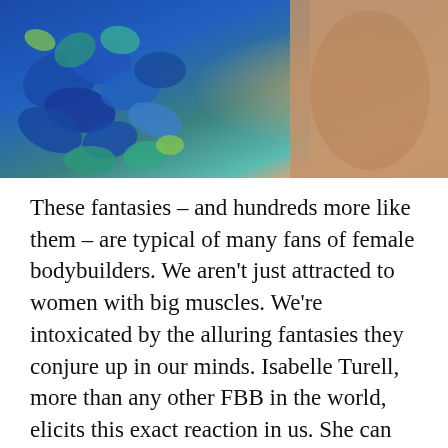[Figure (photo): Partial photo showing blue and teal fabric flowers or ruffles on the left side, and a close-up of skin/muscle on the right side, cropped at the top of the page.]
These fantasies – and hundreds more like them – are typical of many fans of female bodybuilders. We aren't just attracted to women with big muscles. We're intoxicated by the alluring fantasies they conjure up in our minds. Isabelle Turell, more than any other FBB in the world, elicits this exact reaction in us. She can play any part we give her. That's the key to understanding her appeal. She can be the sexy wife, domineering mistress, nerdy girlfriend, hardcore personal trainer, elite athlete, world-class celebrity, Divine Muscle